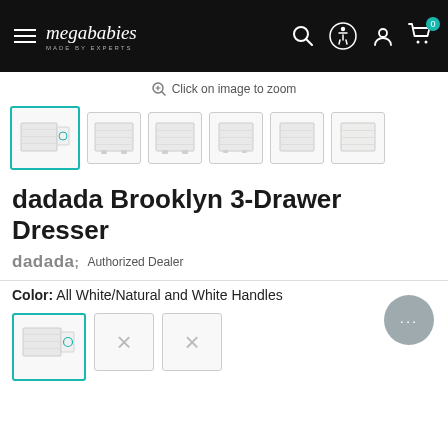megababies — navigation bar with hamburger menu, search, accessibility, account, and cart icons
Click on image to zoom
[Figure (photo): Thumbnail strip showing 7 product images of the dadada Brooklyn 3-Drawer Dresser; first thumbnail is selected with teal border]
dadada Brooklyn 3-Drawer Dresser
dadada; Authorized Dealer
Color: All White/Natural and White Handles
[Figure (photo): Color swatch strip showing 3 color options; first selected with teal border, second and third crossed out]